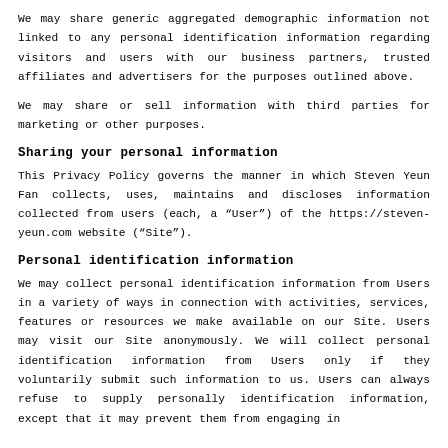We may share generic aggregated demographic information not linked to any personal identification information regarding visitors and users with our business partners, trusted affiliates and advertisers for the purposes outlined above.
We may share or sell information with third parties for marketing or other purposes.
Sharing your personal information
This Privacy Policy governs the manner in which Steven Yeun Fan collects, uses, maintains and discloses information collected from users (each, a "User") of the https://steven-yeun.com website ("Site").
Personal identification information
We may collect personal identification information from Users in a variety of ways in connection with activities, services, features or resources we make available on our Site. Users may visit our Site anonymously. We will collect personal identification information from Users only if they voluntarily submit such information to us. Users can always refuse to supply personally identification information, except that it may prevent them from engaging in